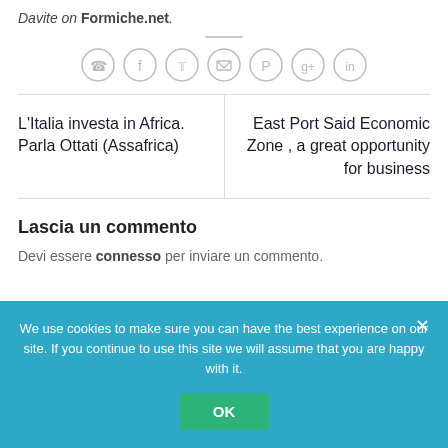Davite on Formiche.net.
[Figure (other): Social sharing icons: phone, Facebook, Twitter, email, Pinterest, Google+, LinkedIn]
L'Italia investa in Africa. Parla Ottati (Assafrica)
East Port Said Economic Zone , a great opportunity for business
Lascia un commento
Devi essere connesso per inviare un commento.
We use cookies to make sure you can have the best experience on our site. If you continue to use this site we will assume that you are happy with it.
OK